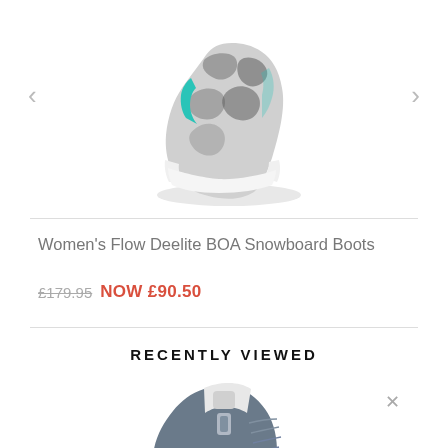[Figure (photo): Women's snowboard boot in black/white camo pattern with teal/cyan accent stripe, viewed from the front-side angle]
< (left navigation arrow)
> (right navigation arrow)
Women's Flow Deelite BOA Snowboard Boots
£179.95 NOW £90.50
RECENTLY VIEWED
[Figure (photo): Dark navy/grey snowboard boot with laces and white tongue detail, viewed from the side]